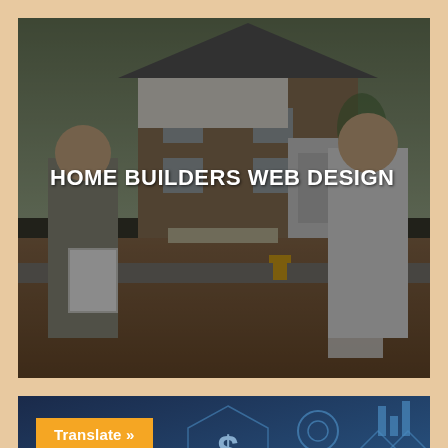[Figure (photo): Two men standing outdoors reviewing documents/clipboards, with a brick and stucco residential house in the background. The image has a dark overlay filter. Text overlay reads HOME BUILDERS WEB DESIGN.]
HOME BUILDERS WEB DESIGN
[Figure (photo): Blue-toned digital graphic with hexagonal icons showing a dollar sign, globe, gear/settings, bar chart, and house shapes. The word REAL is partially visible at the bottom.]
Translate »